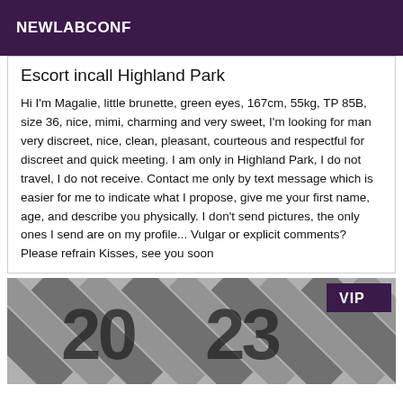NEWLABCONF
Escort incall Highland Park
Hi I'm Magalie, little brunette, green eyes, 167cm, 55kg, TP 85B, size 36, nice, mimi, charming and very sweet, I'm looking for man very discreet, nice, clean, pleasant, courteous and respectful for discreet and quick meeting. I am only in Highland Park, I do not travel, I do not receive. Contact me only by text message which is easier for me to indicate what I propose, give me your first name, age, and describe you physically. I don't send pictures, the only ones I send are on my profile... Vulgar or explicit comments? Please refrain Kisses, see you soon
[Figure (photo): Photo with striped pattern background and VIP badge in top right corner]